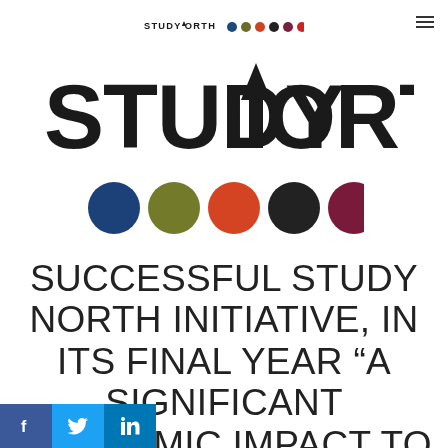STUDYNORTH (small logo with colored dots and hamburger menu)
[Figure (logo): StudyNorth logo: large text STUDYNORTH with an upward arrow replacing the N, followed by six colored circles (blue, olive, orange, dark, maroon, red)]
SUCCESSFUL STUDY NORTH INITIATIVE, IN ITS FINAL YEAR “A SIGNIFICANT ECONOMIC IMPACT TO NORTHERN ONTARIO”